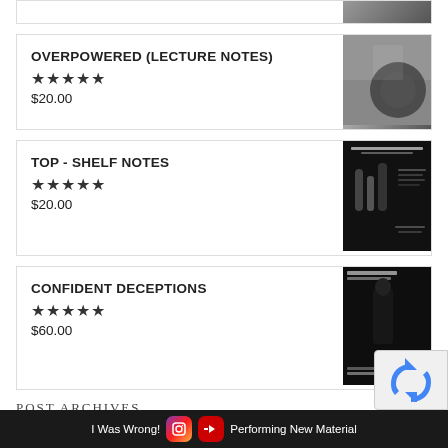OVERPOWERED (LECTURE NOTES)
★★★★★
$20.00
[Figure (photo): Black and white photo of playing cards]
TOP - SHELF NOTES
★★★★★
$20.00
[Figure (photo): Dark book cover titled Top-Shelf Notes with bottles in background]
CONFIDENT DECEPTIONS
★★★★★
$60.00
[Figure (photo): Dark book/DVD cover for Confident Deceptions by Jason Ladanye]
POST ARCHIVES
Select Month
I Was Wrong!   [icon]   [icon]   Performing New Material